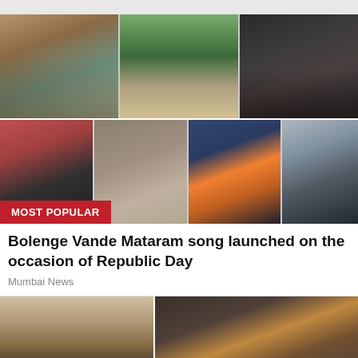[Figure (photo): Collage of group photos: top row shows three photos - indoor group portrait with warm tones, outdoor crowd with Indian flag, dark background group photo. Bottom row shows four photos - group indoors, two people embracing, three men outdoors, one young man outdoors. A red 'MOST POPULAR' badge overlays the bottom row.]
Bolenge Vande Mataram song launched on the occasion of Republic Day
Mumbai News
[Figure (photo): Interior room photo showing a bookshelf on the left and ceiling/cabinet structure on the right, in warm brown tones.]